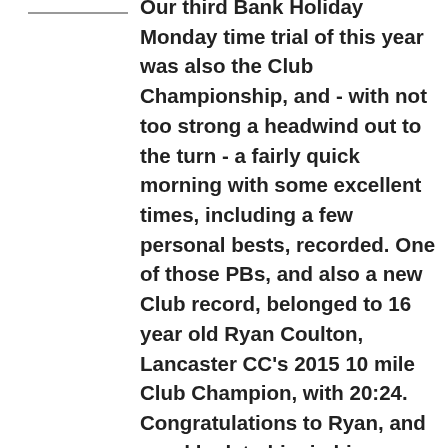Our third Bank Holiday Monday time trial of this year was also the Club Championship, and - with not too strong a headwind out to the turn - a fairly quick morning with some excellent times, including a few personal bests, recorded. One of those PBs, and also a new Club record, belonged to 16 year old Ryan Coulton, Lancaster CC's 2015 10 mile Club Champion, with 20:24. Congratulations to Ryan, and good luck to him in his endeavours to go quicker still